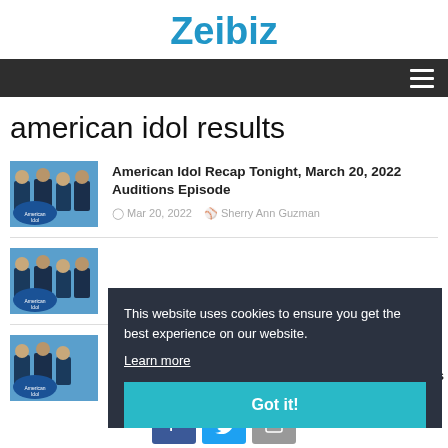Zeibiz
american idol results
American Idol Recap Tonight, March 20, 2022 Auditions Episode
Mar 20, 2022   Sherry Ann Guzman
This website uses cookies to ensure you get the best experience on our website. Learn more
Got it!